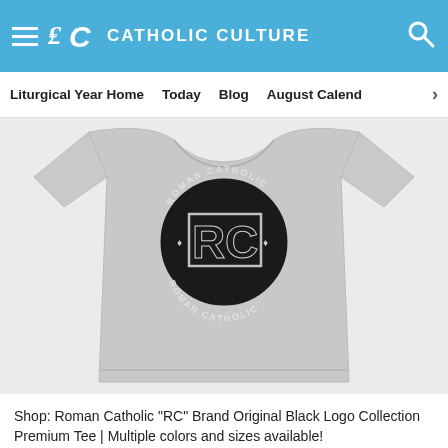CATHOLIC CULTURE
Liturgical Year Home   Today   Blog   August Calend…
[Figure (photo): A grey t-shirt laid flat, displaying a circular black Roman Catholic 'RC' brand logo on the chest. The logo features the letters RC in the center surrounded by the text 'ROMAN CATHOLIC' at top and 'ROMAN CATHOLIC' at the bottom in a circular badge style.]
Shop: Roman Catholic "RC" Brand Original Black Logo Collection Premium Tee | Multiple colors and sizes available!